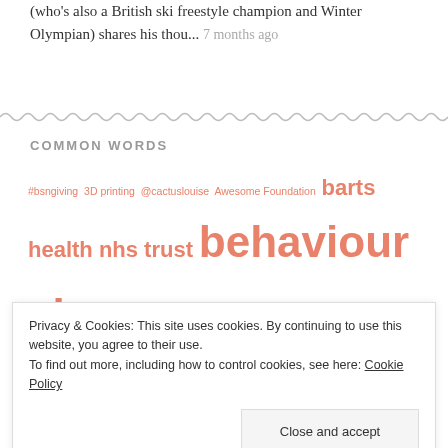... Our brilliant Account Manager @peter_speight (who's also a British ski freestyle champion and Winter Olympian) shares his thou... 7 months ago
COMMON WORDS
#bsngiving 3D printing @cactuslouise Awesome Foundation barts health nhs trust behaviour change Big Society big society network carbon footprint charity shops closed loop co-participation co-production collaboration collaborative
Privacy & Cookies: This site uses cookies. By continuing to use this website, you agree to their use. To find out more, including how to control cookies, see here: Cookie Policy
Close and accept